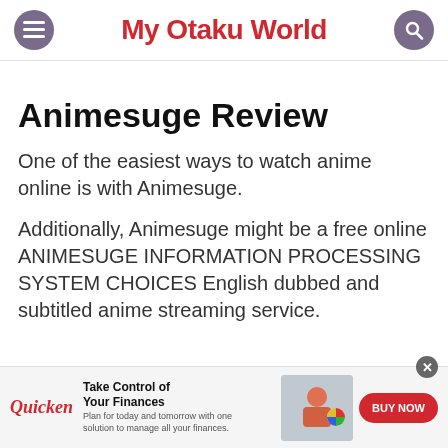My Otaku World
Animesuge Review
One of the easiest ways to watch anime online is with Animesuge.
Additionally, Animesuge might be a free online ANIMESUGE INFORMATION PROCESSING SYSTEM CHOICES English dubbed and subtitled anime streaming service.
[Figure (infographic): Advertisement banner for Quicken: 'Take Control of Your Finances' with BUY NOW button and woman working on laptop image.]